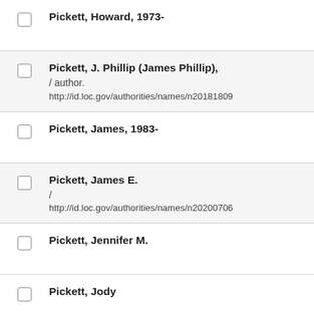Pickett, Howard, 1973-
Pickett, J. Phillip (James Phillip),
/ author.
http://id.loc.gov/authorities/names/n20181809
Pickett, James, 1983-
Pickett, James E.
/
http://id.loc.gov/authorities/names/n20200706
Pickett, Jennifer M.
Pickett, Jody